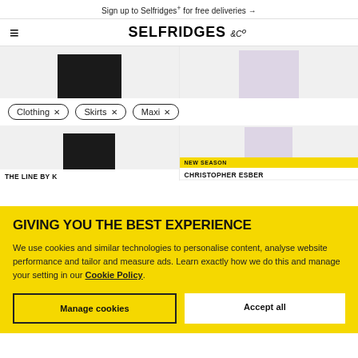Sign up to Selfridges+ for free deliveries →
SELFRIDGES &Co
[Figure (photo): Two product images: a black skirt on the left, a lavender pleated skirt on the right]
Clothing ×
Skirts ×
Maxi ×
[Figure (photo): Lower portions of two product images: black skirt on left, lavender pleated skirt on right with NEW SEASON badge]
NEW SEASON
THE LINE BY K
CHRISTOPHER ESBER
GIVING YOU THE BEST EXPERIENCE
We use cookies and similar technologies to personalise content, analyse website performance and tailor and measure ads. Learn exactly how we do this and manage your setting in our Cookie Policy.
Manage cookies
Accept all